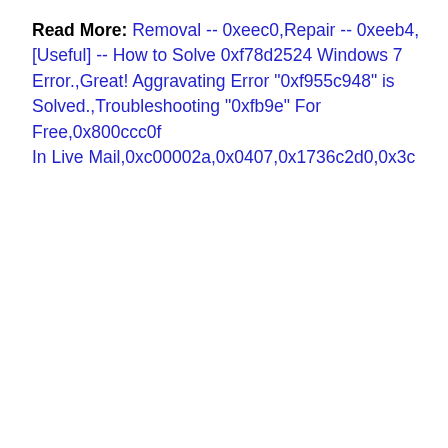Read More: Removal -- 0xeec0,Repair -- 0xeeb4,[Useful] -- How to Solve 0xf78d2524 Windows 7 Error.,Great! Aggravating Error "0xf955c948" is Solved.,Troubleshooting "0xfb9e" For Free,0x800ccc0f In Live Mail,0xc00002a,0x0407,0x1736c2d0,0x3c